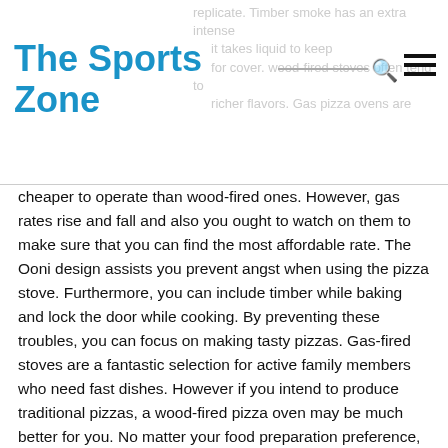The Sports Zone
cheaper to operate than wood-fired ones. However, gas rates rise and fall and also you ought to watch on them to make sure that you can find the most affordable rate. The Ooni design assists you prevent angst when using the pizza stove. Furthermore, you can include timber while baking and lock the door while cooking. By preventing these troubles, you can focus on making tasty pizzas. Gas-fired stoves are a fantastic selection for active family members who need fast dishes. However if you intend to produce traditional pizzas, a wood-fired pizza oven may be much better for you. No matter your food preparation preference, you ought to put in the time to search for a pizza stove as well as contrast costs and also